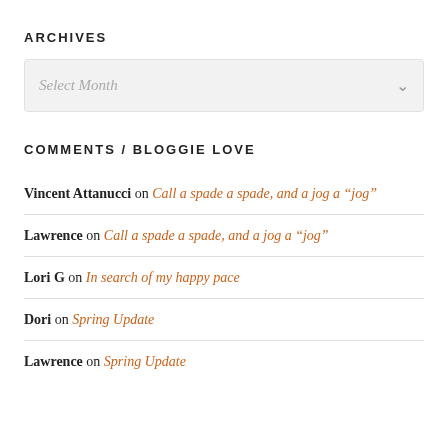ARCHIVES
Select Month
COMMENTS / BLOGGIE LOVE
Vincent Attanucci on Call a spade a spade, and a jog a “jog”
Lawrence on Call a spade a spade, and a jog a “jog”
Lori G on In search of my happy pace
Dori on Spring Update
Lawrence on Spring Update